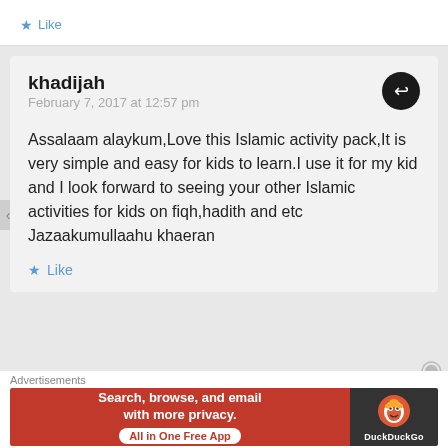Like
khadijah
February 7, 2017 at 12:57 pm
Assalaam alaykum,Love this Islamic activity pack,It is very simple and easy for kids to learn.I use it for my kid and I look forward to seeing your other Islamic activities for kids on fiqh,hadith and etc Jazaakumullaahu khaeran
Like
Ebonie Scott
Advertisements
[Figure (screenshot): DuckDuckGo advertisement banner: orange/red left side reading 'Search, browse, and email with more privacy. All in One Free App', dark right side with DuckDuckGo duck logo and brand name.]